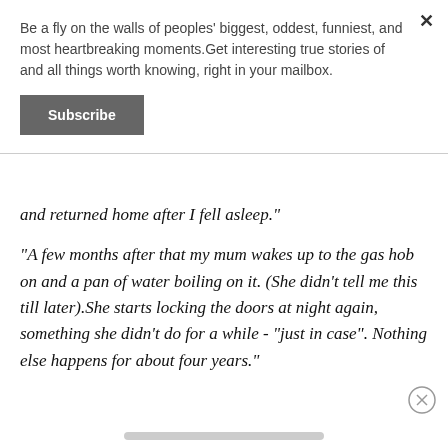Be a fly on the walls of peoples' biggest, oddest, funniest, and most heartbreaking moments.Get interesting true stories of and all things worth knowing, right in your mailbox.
Subscribe
and returned home after I fell asleep."
"A few months after that my mum wakes up to the gas hob on and a pan of water boiling on it. (She didn't tell me this till later).She starts locking the doors at night again, something she didn't do for a while - "just in case". Nothing else happens for about four years."